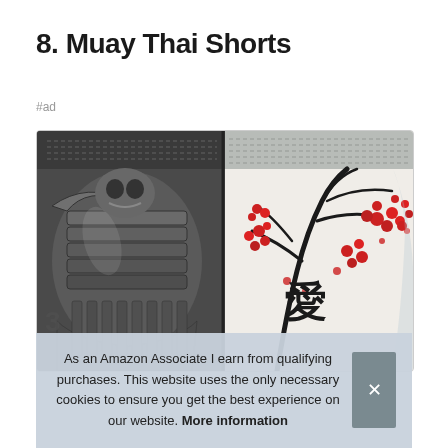8. Muay Thai Shorts
#ad
[Figure (photo): Muay Thai shorts with Japanese samurai warrior design on left half (dark metallic tones) and white side with red cherry blossom and kanji character on right half, shown from waist/elastic band area]
As an Amazon Associate I earn from qualifying purchases. This website uses the only necessary cookies to ensure you get the best experience on our website. More information